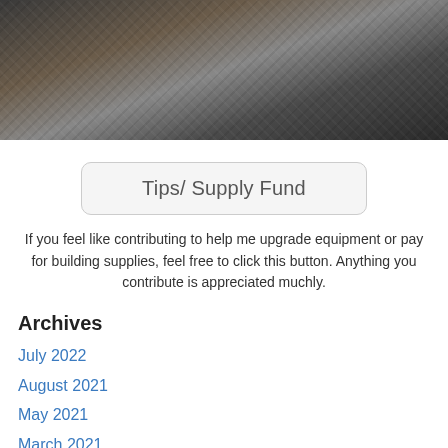[Figure (photo): Person wearing a black-and-white knit cardigan with dark curly hair, photographed from shoulders up against a dark background.]
Tips/ Supply Fund
If you feel like contributing to help me upgrade equipment or pay for building supplies, feel free to click this button. Anything you contribute is appreciated muchly.
Archives
July 2022
August 2021
May 2021
March 2021
February 2021